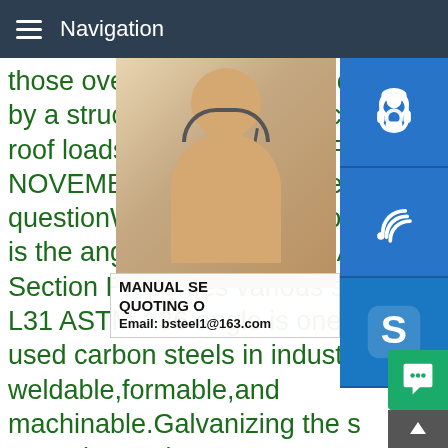Navigation
those over garage doors should by a structural engineer to calculate roof loads.TECHNICAL SERVICE NOVEMBER 2002 - brick residential questionWhat is the angle of ASTM? What is the angle of ASTM steel?ASTM A36 Section Properties various sizes. L31 ASTM A36 angle is one of the most widely used carbon steels in industry. It is weldable,formable,and machinable.Galvanizing the steel increases its corrosion-resistance.ASTM A36 Structural Steel Angle Section Properties Moment results for this questionWhat are the dimensions of steel angles?What are the dimensions of steel angles?Properties in imperial units of steel angles with equal legs are indicated below.The standard method for specifying an angle is
[Figure (photo): Woman with headset customer service photo]
MANUAL SE
QUOTING O
Email: bsteel1@163.com